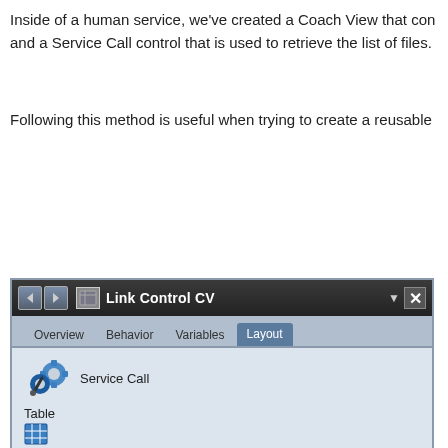Inside of a human service, we've created a Coach View that con and a Service Call control that is used to retrieve the list of files.
Following this method is useful when trying to create a reusable
[Figure (screenshot): Screenshot of a Coach View editor showing 'Link Control CV' panel with Layout tab active. The layout shows a Service Call control with gear icons, a Table control with a grid icon, and inside a dashed border box: a Link header and a Link item with chain-link icon.]